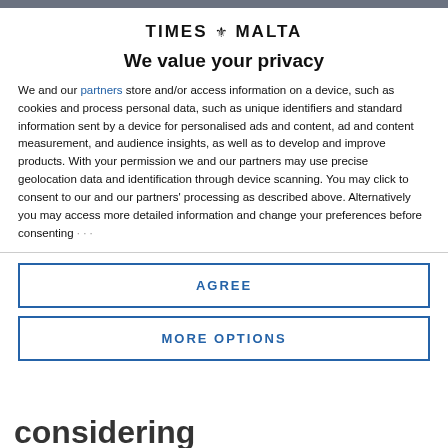[Figure (logo): Times of Malta logo with crest icon between TIMES and MALTA text]
We value your privacy
We and our partners store and/or access information on a device, such as cookies and process personal data, such as unique identifiers and standard information sent by a device for personalised ads and content, ad and content measurement, and audience insights, as well as to develop and improve products. With your permission we and our partners may use precise geolocation data and identification through device scanning. You may click to consent to our and our partners' processing as described above. Alternatively you may access more detailed information and change your preferences before consenting
AGREE
MORE OPTIONS
considering